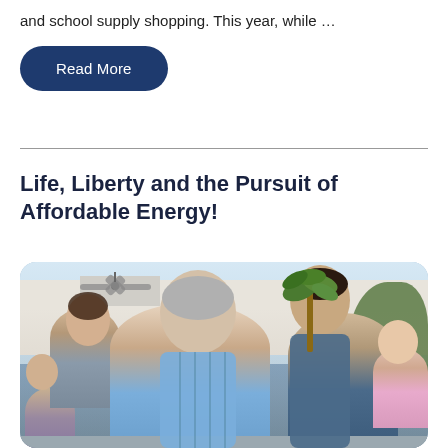and school supply shopping. This year, while …
Read More
Life, Liberty and the Pursuit of Affordable Energy!
[Figure (photo): Family gathering outdoors at a backyard barbecue or patio party, with multiple generations including an older man in the foreground laughing with a younger man, woman in background, children, and a person in pink shirt. Patio with ceiling fan, house, palm tree, and green foliage visible.]